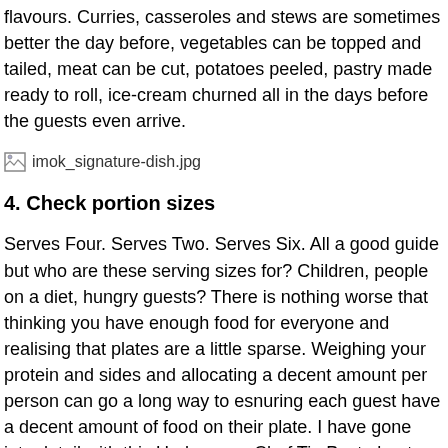flavours. Curries, casseroles and stews are sometimes better the day before, vegetables can be topped and tailed, meat can be cut, potatoes peeled, pastry made ready to roll, ice-cream churned all in the days before the guests even arrive.
[Figure (photo): Placeholder image with filename imok_signature-dish.jpg]
4. Check portion sizes
Serves Four. Serves Two. Serves Six. All a good guide but who are these serving sizes for? Children, people on a diet, hungry guests? There is nothing worse that thinking you have enough food for everyone and realising that plates are a little sparse. Weighing your protein and sides and allocating a decent amount per person can go a long way to esnuring each guest have a decent amount of food on their plate. I have gone into detail with this Undercover Chef Tip Post about Weighing the Sides